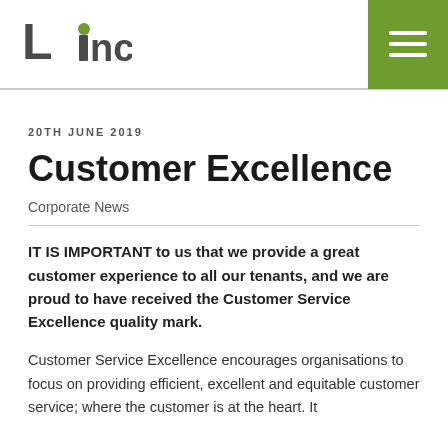Linc [logo] | [hamburger menu]
20TH JUNE 2019
Customer Excellence
Corporate News
IT IS IMPORTANT to us that we provide a great customer experience to all our tenants, and we are proud to have received the Customer Service Excellence quality mark.
Customer Service Excellence encourages organisations to focus on providing efficient, excellent and equitable customer service; where the customer is at the heart. It